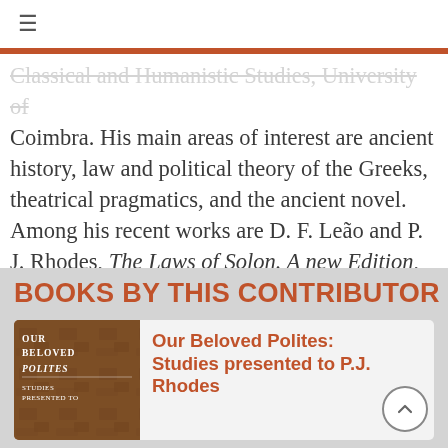≡
Classical and Humanistic Studies, University of Coimbra. His main areas of interest are ancient history, law and political theory of the Greeks, theatrical pragmatics, and the ancient novel. Among his recent works are D. F. Leão and P. J. Rhodes, The Laws of Solon. A new Edition, with Introduction, Translation and Commentary (London, I. B. Tauris, 2015).
BOOKS BY THIS CONTRIBUTOR
[Figure (illustration): Book cover of 'Our Beloved Polites: Studies presented to P.J. Rhodes' showing stone texture background with white text]
Our Beloved Polites: Studies presented to P.J. Rhodes